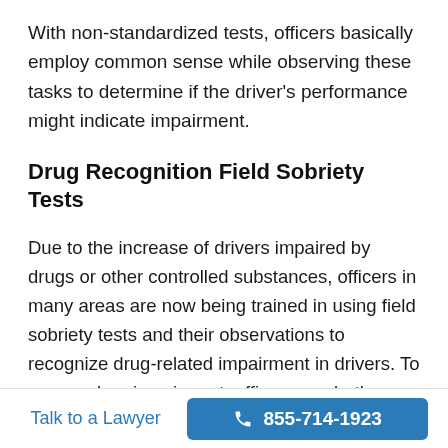With non-standardized tests, officers basically employ common sense while observing these tasks to determine if the driver's performance might indicate impairment.
Drug Recognition Field Sobriety Tests
Due to the increase of drivers impaired by drugs or other controlled substances, officers in many areas are now being trained in using field sobriety tests and their observations to recognize drug-related impairment in drivers. To assess drug impairment, officers use both standardized and non-standardized tests, but the training focuses on specific clues related to drug use. For example,
Talk to a Lawyer  855-714-1923